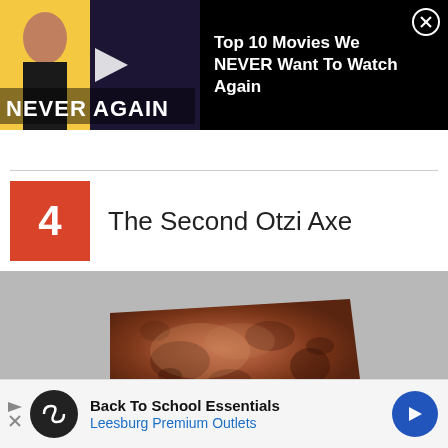[Figure (screenshot): Advertisement banner for 'Top 10 Movies We NEVER Want To Watch Again' video, showing a woman reacting dramatically on the left and Batman v Superman movie scene on the right, with 'NEVER AGAIN' text overlay, on a black background with a close (X) button.]
4  The Second Otzi Axe
[Figure (photo): Photo of the Second Otzi Axe, an ancient copper/bronze axe artifact with a brownish-red patinated surface showing age and oxidation, photographed on a gray background.]
[Figure (screenshot): Advertisement banner for 'Back To School Essentials - Leesburg Premium Outlets' with a circular black logo with infinity symbol, blue navigation arrow icon on right, and small play/close icons on left.]